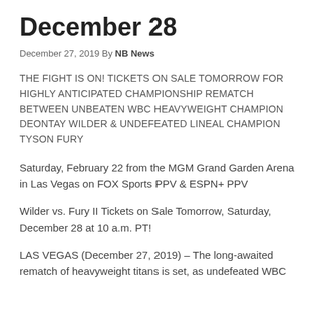December 28
December 27, 2019 By NB News
THE FIGHT IS ON! TICKETS ON SALE TOMORROW FOR HIGHLY ANTICIPATED CHAMPIONSHIP REMATCH BETWEEN UNBEATEN WBC HEAVYWEIGHT CHAMPION DEONTAY WILDER & UNDEFEATED LINEAL CHAMPION TYSON FURY
Saturday, February 22 from the MGM Grand Garden Arena in Las Vegas on FOX Sports PPV & ESPN+ PPV
Wilder vs. Fury II Tickets on Sale Tomorrow, Saturday, December 28 at 10 a.m. PT!
LAS VEGAS (December 27, 2019) – The long-awaited rematch of heavyweight titans is set, as undefeated WBC